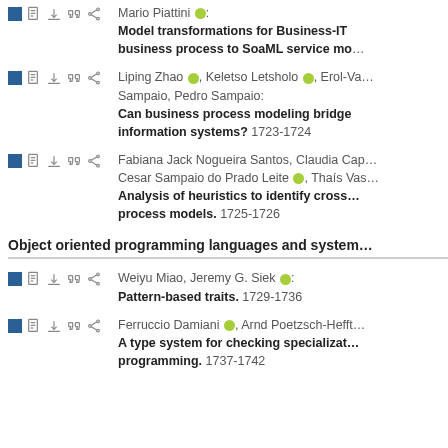Andrea Delgado, Francisco Ruiz, Ignacio Garcia-Rodriguez de Guzman, Mario Piattini: Model transformations for Business-IT alignment: from business process to SoaML service model.
Liping Zhao, Keletso Letsholo, Erol-Valeriu Chioasca, Pedro Sampaio, Pedro Sampaio: Can business process modeling bridge the gap in information systems? 1723-1724
Fabiana Jack Nogueira Santos, Claudia Cap, Julio Cesar Sampaio do Prado Leite, Thaís Vasconcelos Batista: Analysis of heuristics to identify crosscutting concerns in process models. 1725-1726
Object oriented programming languages and systems
Weiyu Miao, Jeremy G. Siek: Pattern-based traits. 1729-1736
Ferruccio Damiani, Arnd Poetzsch-Heffter: A type system for checking specialization in object-oriented programming. 1737-1742